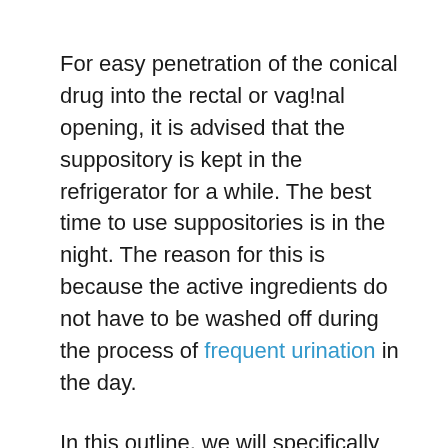For easy penetration of the conical drug into the rectal or vag!nal opening, it is advised that the suppository is kept in the refrigerator for a while. The best time to use suppositories is in the night. The reason for this is because the active ingredients do not have to be washed off during the process of frequent urination in the day.
In this outline, we will specifically look at the boric acid suppository which is applied to the vag!nal opening.
Boric acid works as a great antiseptic. It is used for preventing bacterial infections in burns, cuts and other skin issues. When used